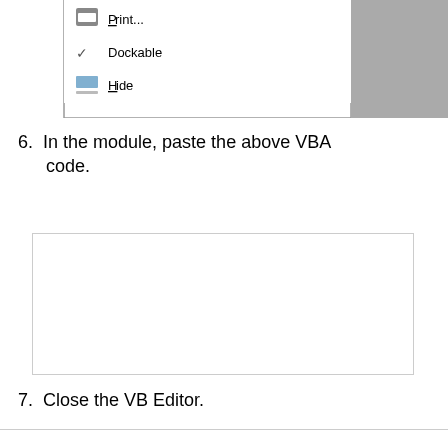[Figure (screenshot): Partial screenshot of a context menu showing Print..., Dockable (checked), and Hide options in a Windows-style dropdown UI.]
6. In the module, paste the above VBA code.
[Figure (screenshot): White blank box representing a code editor or module window area.]
7. Close the VB Editor.